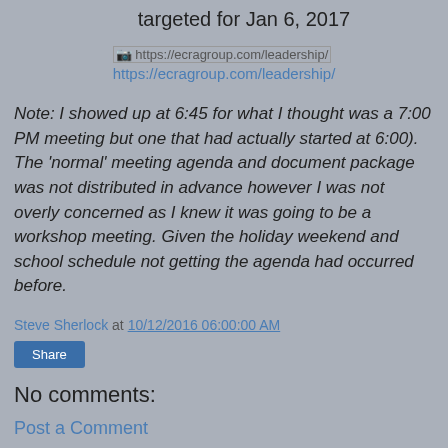targeted for Jan 6, 2017
[Figure (other): Broken image placeholder with link to https://ecragroup.com/leadership/]
https://ecragroup.com/leadership/
Note: I showed up at 6:45 for what I thought was a 7:00 PM meeting but one that had actually started at 6:00). The 'normal' meeting agenda and document package was not distributed in advance however I was not overly concerned as I knew it was going to be a workshop meeting. Given the holiday weekend and school schedule not getting the agenda had occurred before.
Steve Sherlock at 10/12/2016 06:00:00 AM
Share
No comments:
Post a Comment